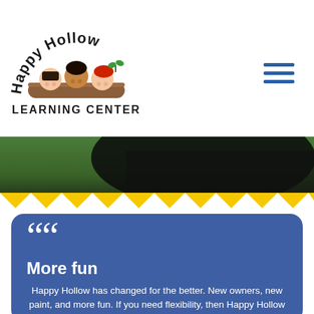[Figure (logo): Happy Hollow Learning Center logo: cartoon children peeking over a log, with text arched above reading 'Happy Hollow' and 'LEARNING CENTER' below.]
[Figure (other): Hamburger menu icon with three blue horizontal lines.]
[Figure (photo): Outdoor photo strip showing green grass and a dark canopy or cover, partially visible.]
[Figure (illustration): Yellow zigzag/wavy decorative border strip across the full width.]
More fun
Happy Hollow has changed for the better. New owners, new paint, and more fun. If you need flexibility, then Happy Hollow is the